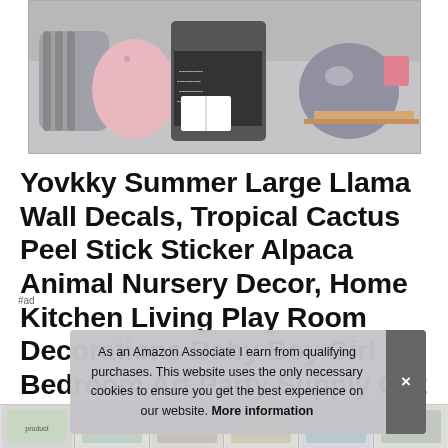[Figure (photo): Photo of a child sitting on a sofa with llama/alpaca shaped plush pillows — pink llama pillow on left, grey cloud-face pillow on right. Child is reading a book and wearing a black and white patterned dress.]
Yovkky Summer Large Llama Wall Decals, Tropical Cactus Peel Stick Sticker Alpaca Animal Nursery Decor, Home Kitchen Living Play Room Decorations Baby Boy Girl Bedroom Art Party Supply Gift
#ad
As an Amazon Associate I earn from qualifying purchases. This website uses the only necessary cookies to ensure you get the best experience on our website. More information
[Figure (photo): Row of product thumbnail images at bottom of page showing various llama/cactus wall decal products]